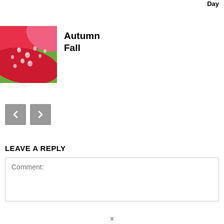Day
[Figure (photo): Close-up photo of red/pink flower petals with water droplets on them, with green background]
Autumn Fall
[Figure (infographic): Navigation buttons: left arrow (previous) and right arrow (next), gray square buttons]
LEAVE A REPLY
Comment: